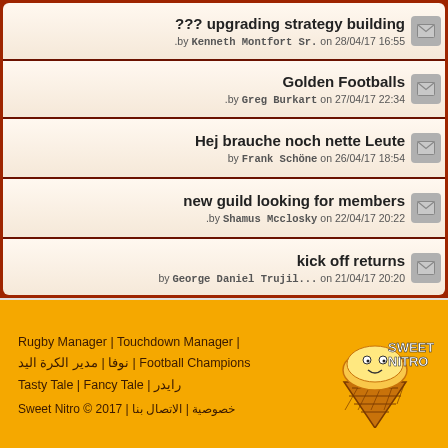??? upgrading strategy building
.by Kenneth Montfort Sr. on 28/04/17 16:55
Golden Footballs
.by Greg Burkart on 27/04/17 22:34
Hej brauche noch nette Leute
by Frank Schöne on 26/04/17 18:54
new guild looking for members
.by Shamus Mcclosky on 22/04/17 20:22
kick off returns
by George Daniel Trujil... on 21/04/17 20:20
Star rating
by Guest EY6YHG on 15/04/17 17:35
Rugby Manager | Touchdown Manager | Football Champions | مدير الكرة اليد | نوفا | راید ر | Tasty Tale | Fancy Tale
Sweet Nitro © 2017 | الاتصال بنا | خصوصية